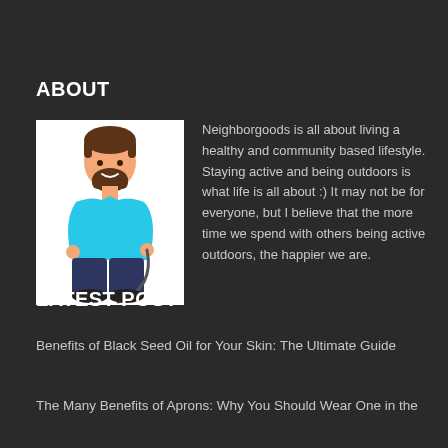ABOUT
[Figure (illustration): Cartoon illustration of a bearded man in a cyan t-shirt holding a jump rope against a white background]
Neighborgoods is all about living a healthy and community based lifestyle. Staying active and being outdoors is what life is all about :) It may not be for everyone, but I believe that the more time we spend with others being active outdoors, the happier we are.
LATEST POST
Benefits of Black Seed Oil for Your Skin: The Ultimate Guide
The Many Benefits of Aprons: Why You Should Wear One in the